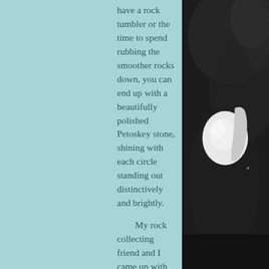have a rock tumbler or the time to spend rubbing the smoother rocks down, you can end up with a beautifully polished Petoskey stone, shining with each circle standing out distinctively and brightly.
	My rock collecting friend and I came up with some illustrations of how the stone works with the Bible and our lives.
	Like the stone we all have our unique design that makes us, us. We may be plain and simple and a little rough around the edges, but we are still special. Our individual uniqueness can be found in our talents and we can use those talents in a way no one else can, to serve Jesus. Think about Peter and Paul, they were a little rough around the
[Figure (photo): Black and white photo of a hand holding or touching a white round object, possibly a stone or egg, against a dark background]